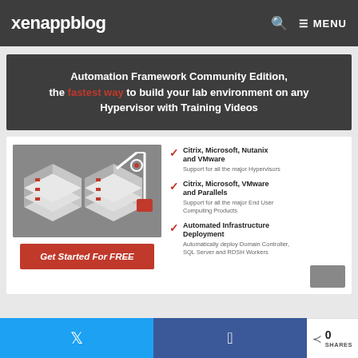xenappblog  🔍  ≡ MENU
[Figure (infographic): Dark banner with text: Automation Framework Community Edition, the fastest way to build your lab environment on any Hypervisor with Training Videos. 'fastest way' is in red.]
[Figure (illustration): Isometric illustration of servers and industrial machinery on gray background]
Citrix, Microsoft, Nutanix and VMware — Support for all the major Hypervisors
Citrix, Microsoft, VMware and Parallels — Support for all the major End User Computing Products
Automated Infrastructure Deployment — Automatically deploy Domain Controller, SQL Server and RDSH Workers
Get Started For FREE
Twitter share | Facebook share | 0 SHARES